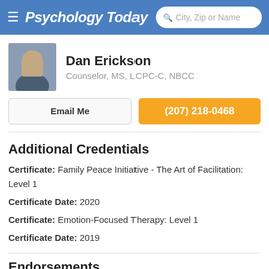Psychology Today — City, Zip or Name search bar
Dan Erickson
Counselor, MS, LCPC-C, NBCC
Email Me
(207) 218-0468
Additional Credentials
Certificate: Family Peace Initiative - The Art of Facilitation: Level 1
Certificate Date: 2020
Certificate: Emotion-Focused Therapy: Level 1
Certificate Date: 2019
Endorsements
Caitlyn Madden